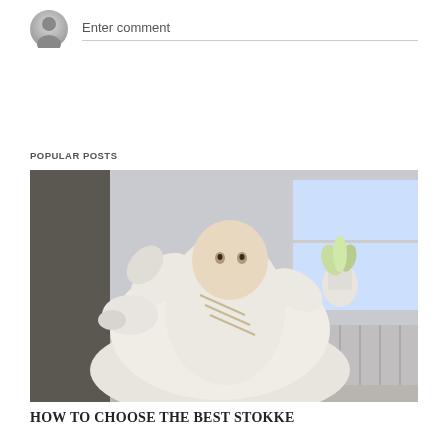Enter comment
POPULAR POSTS
[Figure (photo): A baby in a white onesie sitting in a white baby bouncer chair, raising its legs up, in a room with a window and a plant in the background.]
HOW TO CHOOSE THE BEST STOKKE